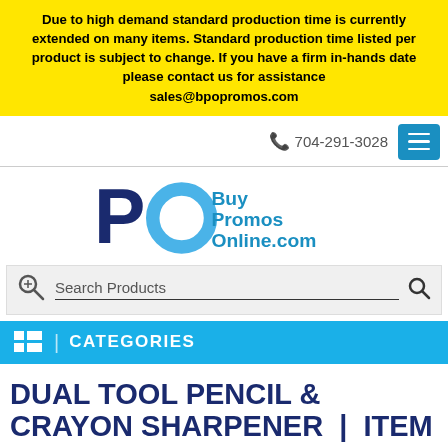Due to high demand standard production time is currently extended on many items. Standard production time listed per product is subject to change. If you have a firm in-hands date please contact us for assistance sales@bpopromos.com
704-291-3028
[Figure (logo): BuyPromosOnline.com logo with blue P and O letters]
Search Products
CATEGORIES
DUAL TOOL PENCIL & CRAYON SHARPENER  |  ITEM WOF-DT10
Go Back